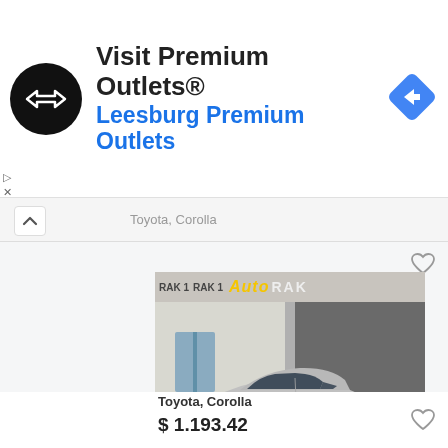[Figure (screenshot): Advertisement banner for Visit Premium Outlets® Leesburg Premium Outlets with black circular logo and blue navigation arrow icon]
Toyota, Corolla
[Figure (photo): Silver Toyota Corolla Verso hatchback parked in front of Auto dealership with yellow and white signage reading RAK 1 Auto RAK]
Toyota, Corolla, verso2.0 D-4D Family (5 vr.)
Toyota, Corolla
$ 1.193.42